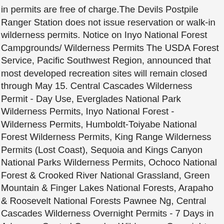in permits are free of charge.The Devils Postpile Ranger Station does not issue reservation or walk-in wilderness permits. Notice on Inyo National Forest Campgrounds/ Wilderness Permits The USDA Forest Service, Pacific Southwest Region, announced that most developed recreation sites will remain closed through May 15. Central Cascades Wilderness Permit - Day Use, Everglades National Park Wilderness Permits, Inyo National Forest - Wilderness Permits, Humboldt-Toiyabe National Forest Wilderness Permits, King Range Wilderness Permits (Lost Coast), Sequoia and Kings Canyon National Parks Wilderness Permits, Ochoco National Forest & Crooked River National Grassland, Green Mountain & Finger Lakes National Forests, Arapaho & Roosevelt National Forests Pawnee Ng, Central Cascades Wilderness Overnight Permits - 7 Days in Advance, Central Cascades Wilderness Overnight Permits - Full Season in Advance, Conundrum Hot Springs - Maroon Bells-Snowmass Wilderness, Grand Mesa, Uncompahgre and Gunnison National Forest. The South Sierra is managed by both the Inyo and